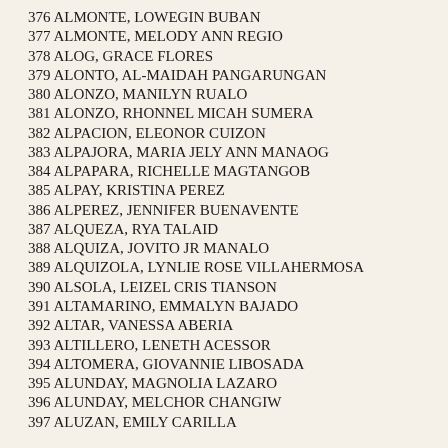376 ALMONTE, LOWEGIN BUBAN
377 ALMONTE, MELODY ANN REGIO
378 ALOG, GRACE FLORES
379 ALONTO, AL-MAIDAH PANGARUNGAN
380 ALONZO, MANILYN RUALO
381 ALONZO, RHONNEL MICAH SUMERA
382 ALPACION, ELEONOR CUIZON
383 ALPAJORA, MARIA JELY ANN MANAOG
384 ALPAPARA, RICHELLE MAGTANGOB
385 ALPAY, KRISTINA PEREZ
386 ALPEREZ, JENNIFER BUENAVENTE
387 ALQUEZA, RYA TALAID
388 ALQUIZA, JOVITO JR MANALO
389 ALQUIZOLA, LYNLIE ROSE VILLAHERMOSA
390 ALSOLA, LEIZEL CRIS TIANSON
391 ALTAMARINO, EMMALYN BAJADO
392 ALTAR, VANESSA ABERIA
393 ALTILLERO, LENETH ACESSOR
394 ALTOMERA, GIOVANNIE LIBOSADA
395 ALUNDAY, MAGNOLIA LAZARO
396 ALUNDAY, MELCHOR CHANGIW
397 ALUZAN, EMILY CARILLA